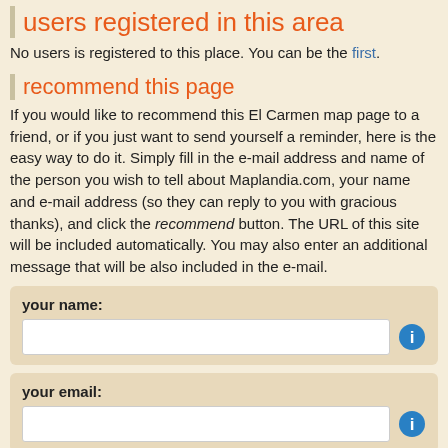users registered in this area
No users is registered to this place. You can be the first.
recommend this page
If you would like to recommend this El Carmen map page to a friend, or if you just want to send yourself a reminder, here is the easy way to do it. Simply fill in the e-mail address and name of the person you wish to tell about Maplandia.com, your name and e-mail address (so they can reply to you with gracious thanks), and click the recommend button. The URL of this site will be included automatically. You may also enter an additional message that will be also included in the e-mail.
your name:
your email: